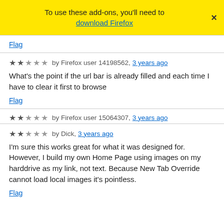To use these add-ons, you'll need to download Firefox ×
Flag
★★☆☆☆ by Firefox user 14198562, 3 years ago
What's the point if the url bar is already filled and each time I have to clear it first to browse
Flag
★★☆☆☆ by Firefox user 15064307, 3 years ago
★★☆☆☆ by Dick, 3 years ago
I'm sure this works great for what it was designed for. However, I build my own Home Page using images on my harddrive as my link, not text. Because New Tab Override cannot load local images it's pointless.
Flag